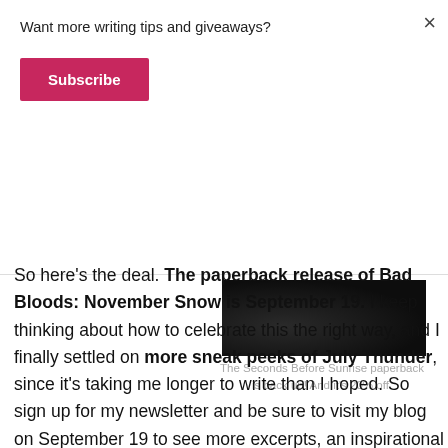Want more writing tips and giveaways?
Subscribe
[Figure (photo): Dark/night scene photograph - partial image visible at top of page]
The Seconds Before Sunrise paperback is back up! And it's 20% off.
So here's the deal. The paperback release of Bad Bloods: November Snow is September 19. I keep thinking about how to celebrate this the right way, and I finally settled on more sneak peeks of July Thunder, since it's taking me longer to write than I hoped. So sign up for my newsletter and be sure to visit my blog on September 19 to see more excerpts, an inspirational Pinterest board, and more!